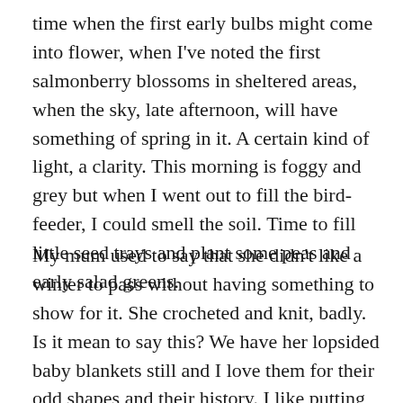time when the first early bulbs might come into flower, when I've noted the first salmonberry blossoms in sheltered areas, when the sky, late afternoon, will have something of spring in it. A certain kind of light, a clarity. This morning is foggy and grey but when I went out to fill the bird-feeder, I could smell the soil. Time to fill little seed trays and plant some peas and early salad greens.
My mum used to say that she didn't like a winter to pass without having something to show for it. She crocheted and knit, badly. Is it mean to say this? We have her lopsided baby blankets still and I love them for their odd shapes and their history. I like putting them on